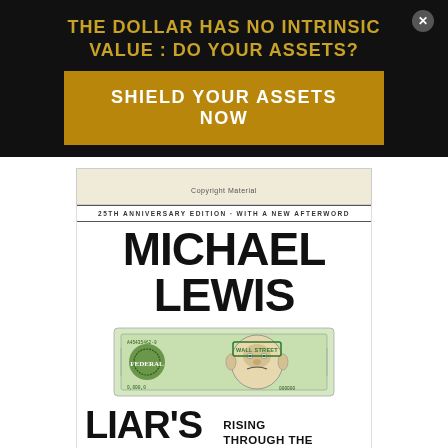THE DOLLAR HAS NO INTRINSIC VALUE : DO YOUR ASSETS?
SHIELD YOUR ASSETS NOW
[Figure (illustration): Book cover of Liar's Poker by Michael Lewis, 25th Anniversary Edition with a new afterword. Shows author name MICHAEL LEWIS, illustration of a distorted dollar bill with a caricature face, and subtitle LIAR'S POKER / RISING THROUGH THE WRECKAGE ON WALL STREET]
Copyright Material
25TH ANNIVERSARY EDITION · WITH A NEW AFTERWORD
MICHAEL LEWIS
LIAR'S POKER
RISING THROUGH THE WRECKAGE ON WALL STREET